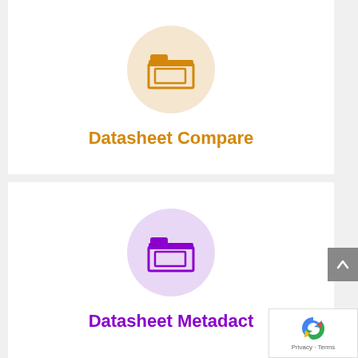[Figure (illustration): Orange folder icon inside a light peach/beige circle, representing Datasheet Compare tool]
Datasheet Compare
[Figure (illustration): Purple folder icon inside a light lavender circle, representing Datasheet Metadact tool]
Datasheet Metadact